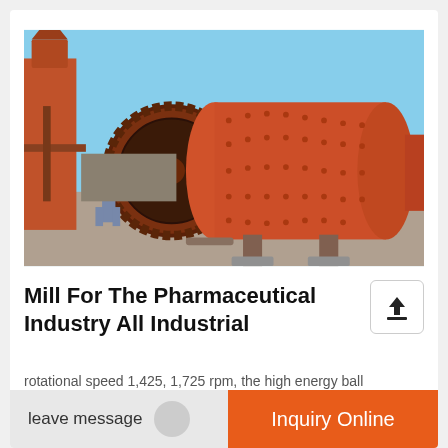[Figure (photo): Large orange industrial ball mill machine installed outdoors with a worker standing nearby, gear wheel visible on the left end, clear blue sky in background.]
Mill For The Pharmaceutical Industry All Industrial
rotational speed 1,425, 1,725 rpm, the high energy ball ... is capable of accommodati...
leave message
Inquiry Online